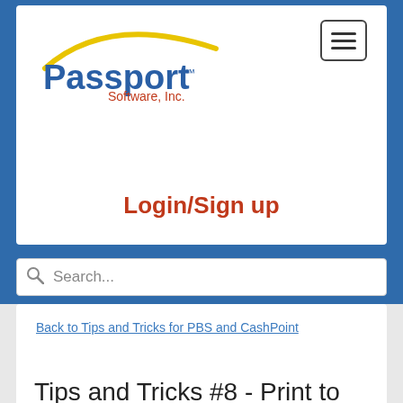[Figure (logo): Passport Software, Inc. logo with yellow swoosh arc above blue Passport text and orange Software, Inc. text]
Login/Sign up
Search...
Back to Tips and Tricks for PBS and CashPoint
Tips and Tricks #8 - Print to Disk and Posting Report/Journal Part 4